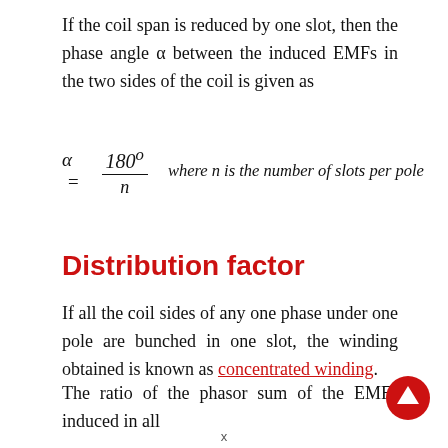If the coil span is reduced by one slot, then the phase angle α between the induced EMFs in the two sides of the coil is given as
Distribution factor
If all the coil sides of any one phase under one pole are bunched in one slot, the winding obtained is known as concentrated winding.
The ratio of the phasor sum of the EMFs induced in all